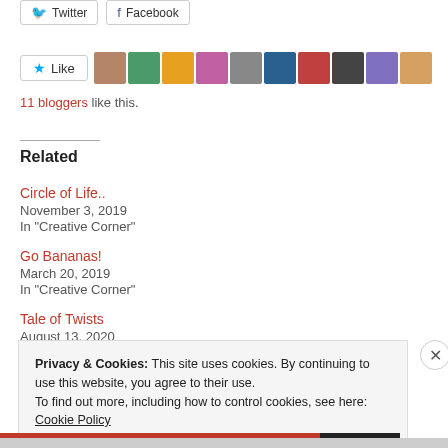[Figure (screenshot): Twitter and Facebook social sharing buttons at top of page]
[Figure (screenshot): Like button with star icon and row of blogger avatar thumbnails]
11 bloggers like this.
Related
Circle of Life.. November 3, 2019 In "Creative Corner"
Go Bananas! March 20, 2019 In "Creative Corner"
Tale of Twists August 13, 2020 In "Creative Corner"
Privacy & Cookies: This site uses cookies. By continuing to use this website, you agree to their use. To find out more, including how to control cookies, see here: Cookie Policy
Close and accept